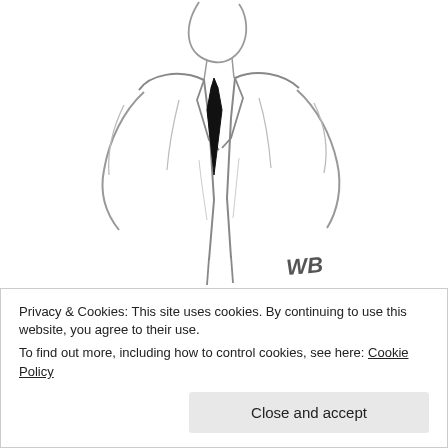[Figure (illustration): Sketched line-art illustration of a person in a suit and tie, drawn in a loose gestural style with a signature 'WB' in the lower right area of the sketch.]
Col. Earchman was the most popular officer ever connected with a hockey club, and he drilled it into his men to play that game. They carried this out at all times. The best wishes of every player, fan and citizen go with the Battalion.
Privacy & Cookies: This site uses cookies. By continuing to use this website, you agree to their use. To find out more, including how to control cookies, see here: Cookie Policy